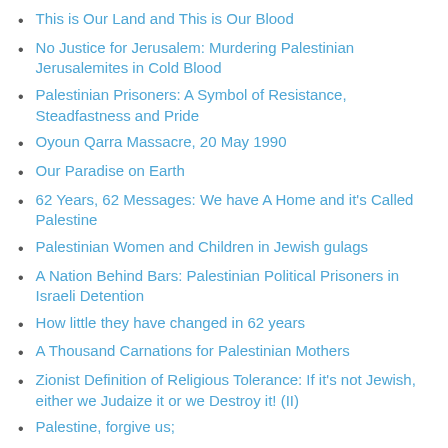This is Our Land and This is Our Blood
No Justice for Jerusalem: Murdering Palestinian Jerusalemites in Cold Blood
Palestinian Prisoners: A Symbol of Resistance, Steadfastness and Pride
Oyoun Qarra Massacre, 20 May 1990
Our Paradise on Earth
62 Years, 62 Messages: We have A Home and it's Called Palestine
Palestinian Women and Children in Jewish gulags
A Nation Behind Bars: Palestinian Political Prisoners in Israeli Detention
How little they have changed in 62 years
A Thousand Carnations for Palestinian Mothers
Zionist Definition of Religious Tolerance: If it's not Jewish, either we Judaize it or we Destroy it! (II)
Palestine, forgive us;
One Year On: Gaza Steadfast and Defiant amidst a World that has lost its Humanity
The Tale of 3 Palestinian Villages